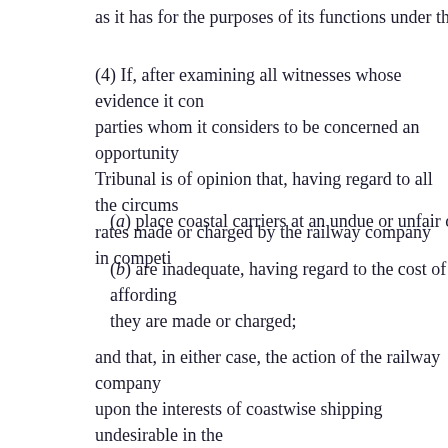as it has for the purposes of its functions under the Railwa
(4) If, after examining all witnesses whose evidence it con parties whom it considers to be concerned an opportunity Tribunal is of opinion that, having regard to all the circums rates made or charged by the railway company in competi
(a) place coastal carriers at an undue or unfair disadvant
(b) are inadequate, having regard to the cost of affording they are made or charged;
and that, in either case, the action of the railway company upon the interests of coastwise shipping undesirable in the by order cancel or vary all or any of those agreed charges other order upon the railway company as in the circumsta order of the Tribunal may be expressed to operate for so l with respect to charges on competitive routes, or otherwis
Any such order may, notwithstanding any provisions of thi as the Tribunal thinks fit.
(5) The Tribunal, on an application made by the railway